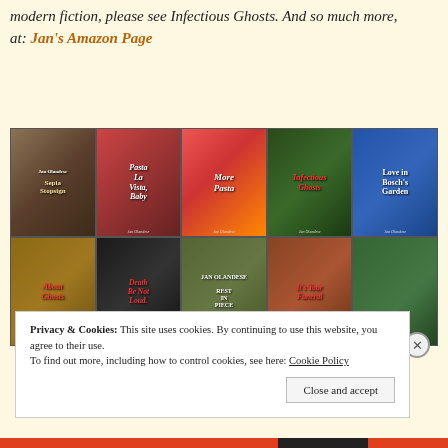…and, Rest In Peace, and Sepia Stopsign. To learn about ghosts in modern fiction, please see Infectious Ghosts. And so much more, at: Jan's Amazon Page
[Figure (photo): A collage grid of book covers by Jan Olandese, including titles: About Ghosts, Pasta La Vista Baby, More Pasta, Infectious Ghosts, Love in Bosch's Garden, About Ghosts, Death Be Not Loud, Rest in Peace, It's Your Funeral, and another title. Arranged in 2 rows of 5 covers each.]
Privacy & Cookies: This site uses cookies. By continuing to use this website, you agree to their use. To find out more, including how to control cookies, see here: Cookie Policy
Close and accept